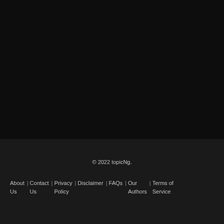© 2022 topicNg.
About Us | Contact Us | Privacy Policy | Disclaimer | FAQs | Our Authors | Terms of Service